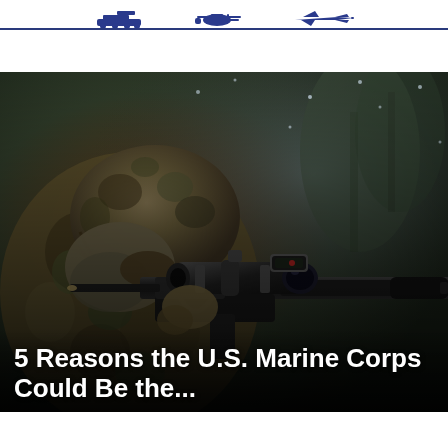[Military silhouette icons — tank, helicopter, jet fighter]
[Figure (photo): A U.S. Marine in camouflage gear and helmet aiming a sniper rifle with a large scope and red dot sight. The background is blurred in dark tones suggesting an outdoor winter or cold environment.]
5 Reasons the U.S. Marine Corps Could Be the...